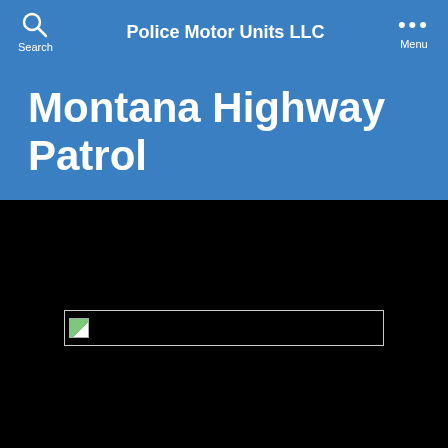Police Motor Units LLC
Montana Highway Patrol
[Figure (photo): Broken image placeholder in a black content area below the header]